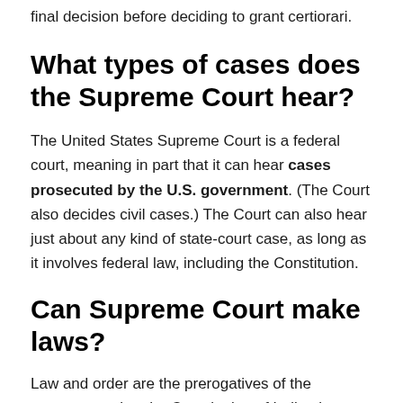final decision before deciding to grant certiorari.
What types of cases does the Supreme Court hear?
The United States Supreme Court is a federal court, meaning in part that it can hear cases prosecuted by the U.S. government. (The Court also decides civil cases.) The Court can also hear just about any kind of state-court case, as long as it involves federal law, including the Constitution.
Can Supreme Court make laws?
Law and order are the prerogatives of the government, but the Constitution of India also provides that if the government is not able to handle the law and order, the Supreme Court can intervene. Therefore, the Supreme Court can make the final